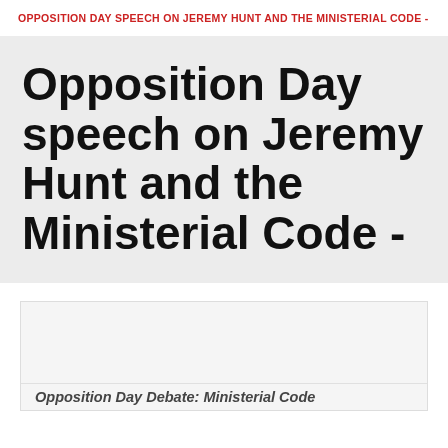OPPOSITION DAY SPEECH ON JEREMY HUNT AND THE MINISTERIAL CODE -
Opposition Day speech on Jeremy Hunt and the Ministerial Code -
[Figure (screenshot): Embedded document preview box showing the beginning of 'Opposition Day Debate: Ministerial Code' document]
Opposition Day Debate: Ministerial Code